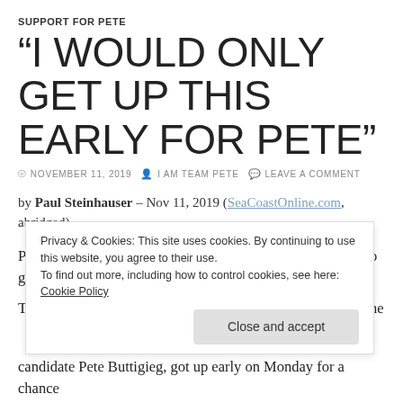SUPPORT FOR PETE
“I WOULD ONLY GET UP THIS EARLY FOR PETE”
NOVEMBER 11, 2019 · I AM TEAM PETE · LEAVE A COMMENT
by Paul Steinhauser – Nov 11, 2019 (SeaCoastOnline.com, abridged)
PORTSMOUTH — Diane McHenry says she doesn’t like to get up early.
The Elliot, Maine, resident who has lived on both sides of the
Privacy & Cookies: This site uses cookies. By continuing to use this website, you agree to their use.
To find out more, including how to control cookies, see here: Cookie Policy
candidate Pete Buttigieg, got up early on Monday for a chance